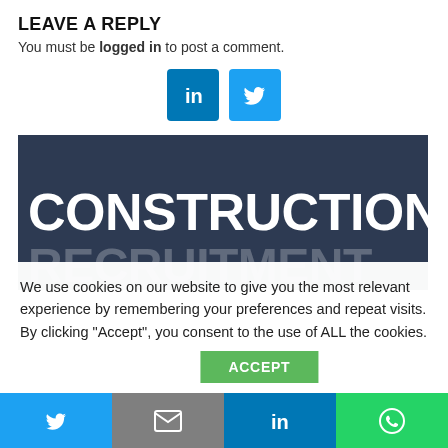LEAVE A REPLY
You must be logged in to post a comment.
[Figure (other): LinkedIn and Twitter social share icon buttons]
[Figure (other): Dark navy blue banner with large white bold text reading CONSTRUCTION and partially visible RECRUITMENT below]
We use cookies on our website to give you the most relevant experience by remembering your preferences and repeat visits. By clicking “Accept”, you consent to the use of ALL the cookies.
[Figure (other): Green ACCEPT button partially visible]
[Figure (other): Bottom social share bar with Twitter (blue), Email (grey), LinkedIn (blue), WhatsApp (green) buttons]